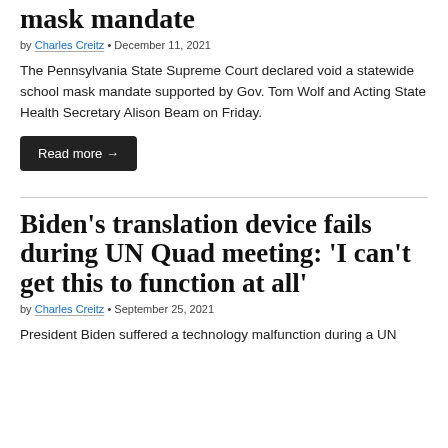mask mandate
by Charles Creitz • December 11, 2021
The Pennsylvania State Supreme Court declared void a statewide school mask mandate supported by Gov. Tom Wolf and Acting State Health Secretary Alison Beam on Friday.
Read more →
Biden's translation device fails during UN Quad meeting: 'I can't get this to function at all'
by Charles Creitz • September 25, 2021
President Biden suffered a technology malfunction during a UN